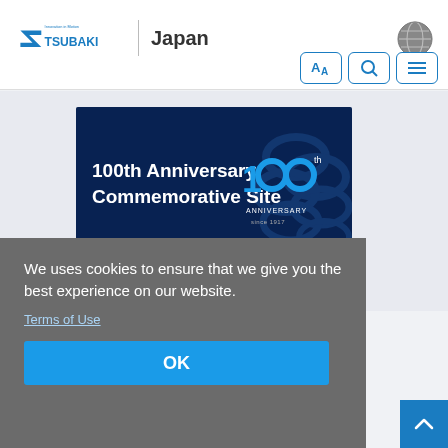TSUBAKI Innovation in Motion | Japan
[Figure (screenshot): 100th Anniversary Commemorative Site banner image with dark blue background showing chain links and '100th Anniversary Commemorative Site' text with 100th anniversary logo]
100th Anniversary Commemorative Site
We uses cookies to ensure that we give you the best experience on our website.
Terms of Use
OK